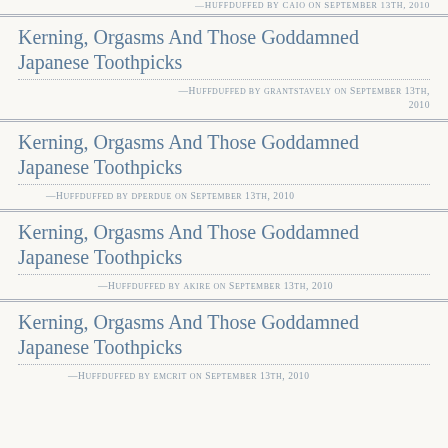—Huffduffed by caio on September 13th, 2010
Kerning, Orgasms And Those Goddamned Japanese Toothpicks
—Huffduffed by grantstavely on September 13th, 2010
Kerning, Orgasms And Those Goddamned Japanese Toothpicks
—Huffduffed by dperdue on September 13th, 2010
Kerning, Orgasms And Those Goddamned Japanese Toothpicks
—Huffduffed by akire on September 13th, 2010
Kerning, Orgasms And Those Goddamned Japanese Toothpicks
—Huffduffed by emcrit on September 13th, 2010